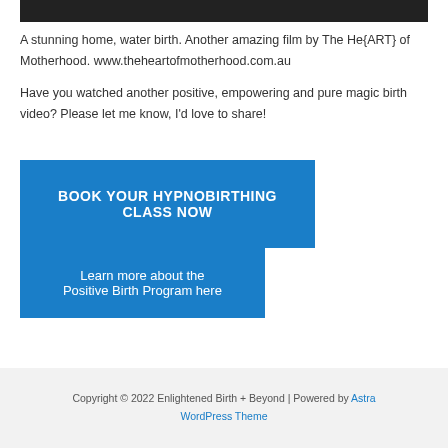[Figure (photo): Dark/black bar at top of page representing top of a video or image]
A stunning home, water birth. Another amazing film by The He{ART} of Motherhood. www.theheartofmotherhood.com.au
Have you watched another positive, empowering and pure magic birth video? Please let me know, I'd love to share!
BOOK YOUR HYPNOBIRTHING CLASS NOW
Learn more about the Positive Birth Program here
Copyright © 2022 Enlightened Birth + Beyond | Powered by Astra WordPress Theme